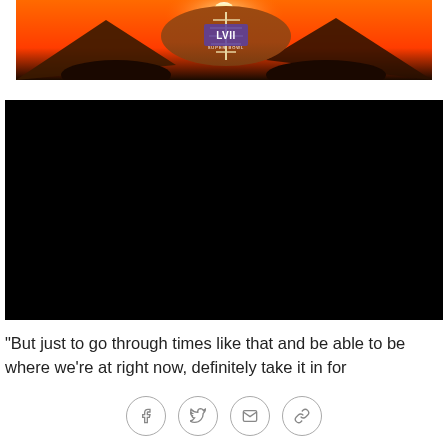[Figure (photo): Super Bowl LVII football on rocky mountain at sunset with orange sky background]
[Figure (screenshot): Black video player embed]
"But just to go through times like that and be able to be where we're at right now, definitely take it in for
[Figure (infographic): Social share icons: Facebook, Twitter, Email, Link]